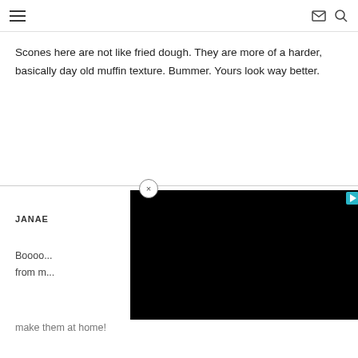≡  ✉ 🔍
Scones here are not like fried dough. They are more of a harder, basically day old muffin texture. Bummer. Yours look way better.
JANAE
Boooo... from m... make them at home!